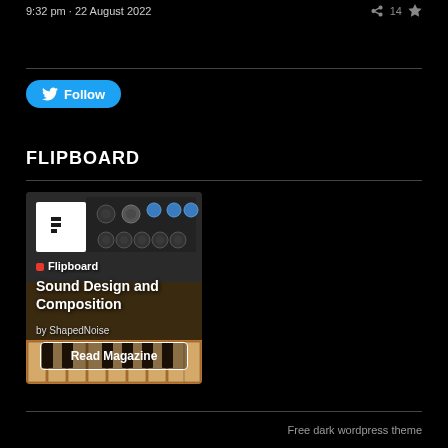9:32 pm · 22 August 2022
Follow
FLIPBOARD
[Figure (other): Flipboard magazine card showing 'Sound Design and Composition by ShapedNoise' with a synthesizer background image and piano keyboard, with a 'Read Magazine' button]
Free dark wordpress theme